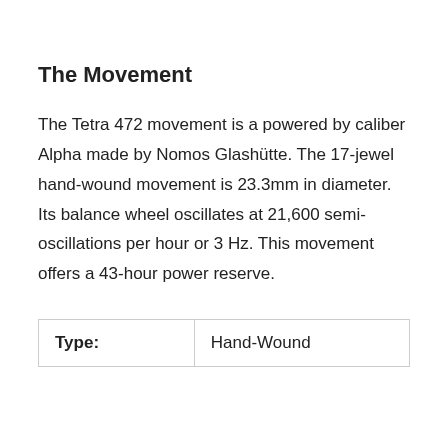The Movement
The Tetra 472 movement is a powered by caliber Alpha made by Nomos Glashütte. The 17-jewel hand-wound movement is 23.3mm in diameter. Its balance wheel oscillates at 21,600 semi-oscillations per hour or 3 Hz. This movement offers a 43-hour power reserve.
| Type: | Hand-Wound |
| --- | --- |